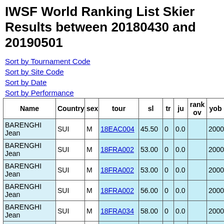IWSF World Ranking List Skier Results between 20180430 and 20190501
Sort by Tournament Code
Sort by Site Code
Sort by Date
Sort by Performance
| Name | Country | sex | tour | sl | tr | ju | rank ov | yob | cl |
| --- | --- | --- | --- | --- | --- | --- | --- | --- | --- |
| BARENGHI Jean | SUI | M | 18EAC004 | 45.50 | 0 | 0.0 |  | 2000 | R |
| BARENGHI Jean | SUI | M | 18FRA002 | 53.00 | 0 | 0.0 |  | 2000 | R |
| BARENGHI Jean | SUI | M | 18FRA002 | 53.00 | 0 | 0.0 |  | 2000 | R |
| BARENGHI Jean | SUI | M | 18FRA002 | 56.00 | 0 | 0.0 |  | 2000 | R |
| BARENGHI Jean | SUI | M | 18FRA034 | 58.00 | 0 | 0.0 |  | 2000 | L |
| BARENGHI Jean | SUI | M | 18FRA034 | 56.00 | 0 | 0.0 |  | 2000 | L |